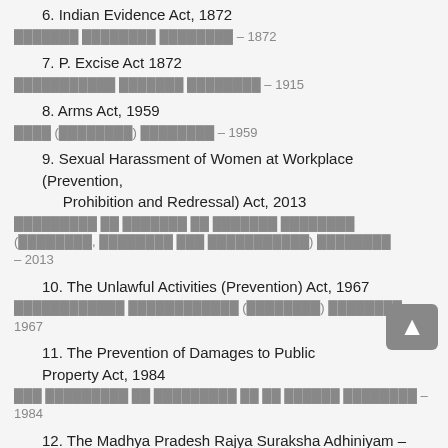6. Indian Evidence Act, 1872
██████ ████████ ████████ – 1872
7. P. Excise Act 1872
████████████ ████████ ████████ – 1915
8. Arms Act, 1959
████ (████████) ████████ – 1959
9. Sexual Harassment of Women at Workplace (Prevention, Prohibition and Redressal) Act, 2013
██████████ ██ ████████ ██ ████████ ████████ (████████, ████████ ███ ██████████) ████████ – 2013
10. The Unlawful Activities (Prevention) Act, 1967
████████████ ████████████ (████████) ████████ – 1967
11. The Prevention of Damages to Public Property Act, 1984
███ ██████████ ██ ██████████ ██ ██ ████████ ████████ – 1984
12. The Madhya Pradesh Rajya Suraksha Adhiniyam – 1990
████████████ ██████ ████████ ████████████ – 1990
13. National Investigation Agency Act – 2008
██████████ ████████ ██████ ████████ – 2008